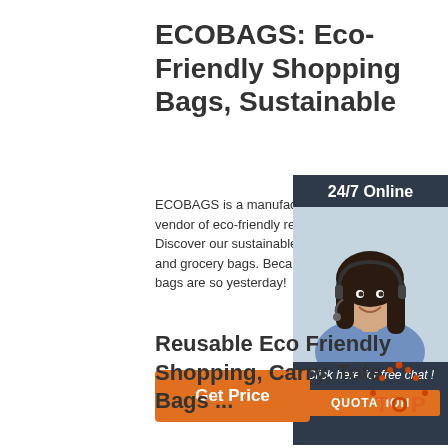ECOBAGS: Eco-Friendly Shopping Bags, Sustainable
ECOBAGS is a manufacturer vendor of eco-friendly reusab Discover our sustainable sho and grocery bags. Because p bags are so yesterday!
[Figure (screenshot): Advertisement widget with a customer service woman wearing a headset, dark blue background, '24/7 Online' header, 'Click here for free chat!' text, and orange QUOTATION button]
Get Price
Reusable Eco Friendly Shopping, Carry, Tote Bags ...
[Figure (logo): TOP logo - orange/red dotted triangle with orange text reading TOP]